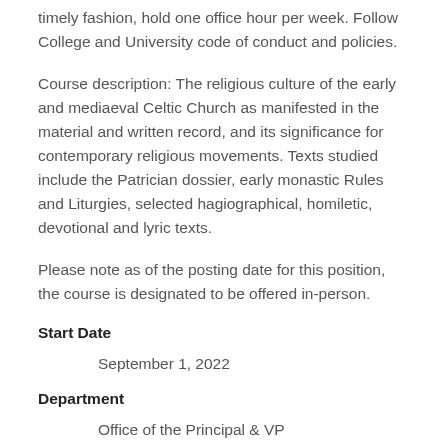timely fashion, hold one office hour per week. Follow College and University code of conduct and policies.
Course description: The religious culture of the early and mediaeval Celtic Church as manifested in the material and written record, and its significance for contemporary religious movements. Texts studied include the Patrician dossier, early monastic Rules and Liturgies, selected hagiographical, homiletic, devotional and lyric texts.
Please note as of the posting date for this position, the course is designated to be offered in-person.
Start Date
September 1, 2022
Department
Office of the Principal & VP